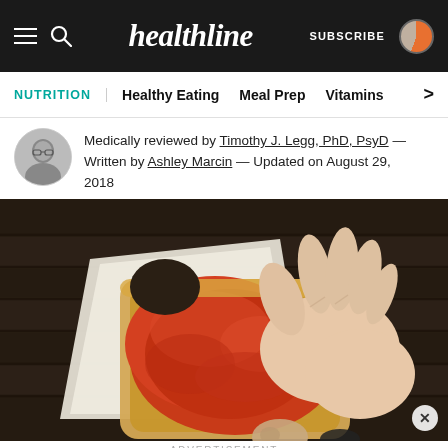healthline — SUBSCRIBE
NUTRITION | Healthy Eating | Meal Prep | Vitamins >
Medically reviewed by Timothy J. Legg, PhD, PsyD — Written by Ashley Marcin — Updated on August 29, 2018
[Figure (photo): A hand holding a piece of toast or pastry with tomato/jam topping, with a bite taken out, wrapped in white paper. Dark wooden background. A face visible in the lower portion of the image.]
ADVERTISEMENT
[Figure (infographic): Advertisement banner with teal background. Left side shows a red background with a cartoon woman figure. Middle text reads 'Get our wellness newsletter.' Right side has a teal SUBSCRIBE button.]